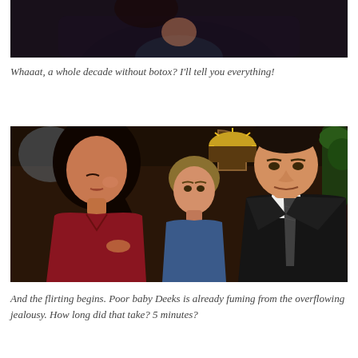[Figure (photo): Cropped photo of a woman from the neck/chest down, wearing a teal top and dark jacket, dark background]
Whaaat, a whole decade without botox? I'll tell you everything!
[Figure (photo): Scene with a woman in a red top flipping her hair, a man in a blue shirt in the background, and a man in a dark suit and tie on the right, indoor setting with decorative arch and stained glass sun motif]
And the flirting begins. Poor baby Deeks is already fuming from the overflowing jealousy. How long did that take? 5 minutes?